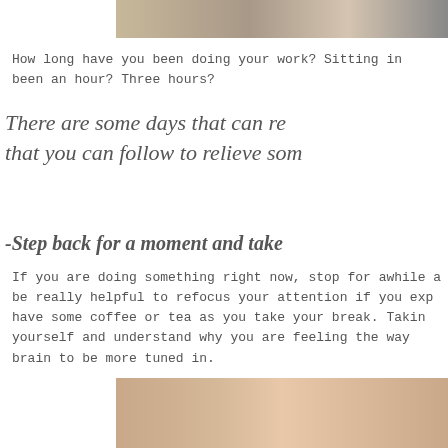[Figure (photo): Photo partially visible at top of page, cropped]
How long have you been doing your work? Sitting in been an hour? Three hours?
There are some days that can re that you can follow to relieve som
-Step back for a moment and take
If you are doing something right now, stop for awhile a be really helpful to refocus your attention if you exp have some coffee or tea as you take your break. Takin yourself and understand why you are feeling the way brain to be more tuned in.
[Figure (photo): Photo partially visible at bottom of page, cropped]